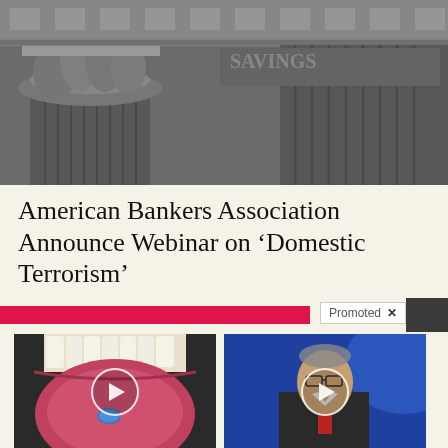[Figure (photo): Close-up photograph of ornate classical architectural column capitals on a building facade, black and white tones]
American Bankers Association Announce Webinar on ‘Domestic Terrorism’
[Figure (infographic): Red promotional bar with 'Promoted X' label overlay and dark box on right]
[Figure (photo): Thumbnail image of mouth with tongue out showing a pill, with video play button overlay]
4 Worst Blood Pressure Drugs (Avoid At All Costs)
🔥 68,984
[Figure (photo): Thumbnail image of elderly man speaking at podium against blue background, with video play button overlay]
Overlooked Message In The Bible Democrats Want Banned
🔥 140,832